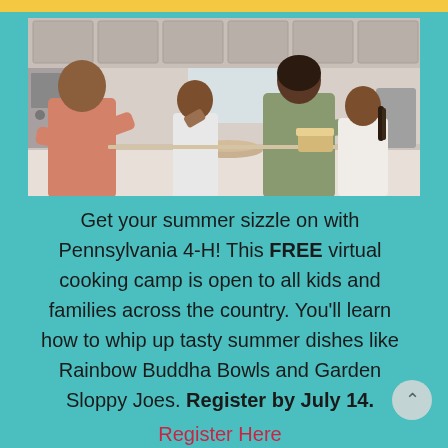[Figure (photo): A family of four (man in pink shirt, woman in green shirt, two children) cooking together in a bright kitchen, leaning over a kitchen counter/island.]
Get your summer sizzle on with Pennsylvania 4-H! This FREE virtual cooking camp is open to all kids and families across the country. You'll learn how to whip up tasty summer dishes like Rainbow Buddha Bowls and Garden Sloppy Joes. Register by July 14.
Register Here